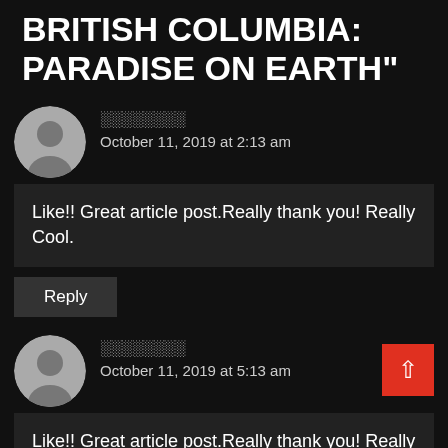BRITISH COLUMBIA: PARADISE ON EARTH"
░░░░░░░░
October 11, 2019 at 2:13 am
Like!! Great article post.Really thank you! Really Cool.
Reply
░░░░░░░░
October 11, 2019 at 5:13 am
Like!! Great article post.Really thank you! Really